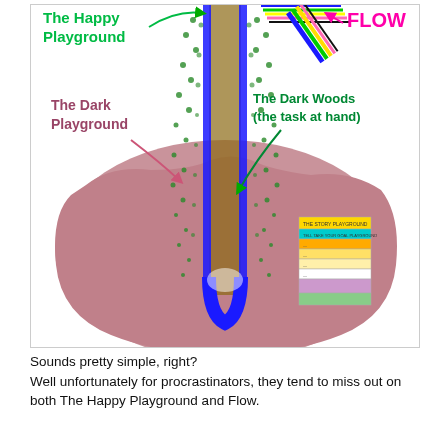[Figure (infographic): Diagram showing 'The Happy Playground', 'The Dark Playground', 'The Dark Woods (the task at hand)', and 'FLOW' labels with arrows. A large pink/mauve blob shape represents the 'Dark Playground'. A vertical corridor/funnel of colored streams (blue, green, brown) descends from the top into the blob. Blue curved shape at bottom of the corridor. A small stacked bar legend appears at bottom-right inside the blob. FLOW label in magenta points to colored lines at top-right. Green arrow pointing to 'The Happy Playground' at top-left. Pink arrow pointing into the blob for 'The Dark Playground'. Green arrow pointing down into the corridor for 'The Dark Woods (the task at hand)'.]
Sounds pretty simple, right?
Well unfortunately for procrastinators, they tend to miss out on both The Happy Playground and Flow.